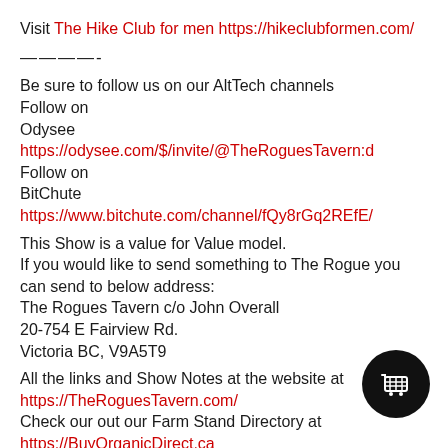Visit The Hike Club for men https://hikeclubformen.com/
————-
Be sure to follow us on our AltTech channels
Follow on
Odysee https://odysee.com/$/invite/@TheRoguesTavern:d
Follow on
BitChute https://www.bitchute.com/channel/fQy8rGq2REfE/
This Show is a value for Value model.
If you would like to send something to The Rogue you can send to below address:
The Rogues Tavern c/o John Overall
20-754 E Fairview Rd.
Victoria BC, V9A5T9
All the links and Show Notes at the website at
https://TheRoguesTavern.com/
Check our out our Farm Stand Directory at
https://BuyOrganicDirect.ca